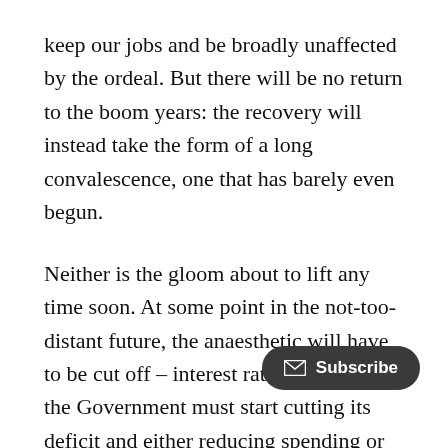keep our jobs and be broadly unaffected by the ordeal. But there will be no return to the boom years: the recovery will instead take the form of a long convalescence, one that has barely even begun.
Neither is the gloom about to lift any time soon. At some point in the not-too-distant future, the anaesthetic will have to be cut off – interest rates must rise, the Government must start cutting its deficit and either reducing spending or raising taxes. Indeed, the International Monetary Fund spelled it out yesterday: while e[very] country has budgeted to spend at least